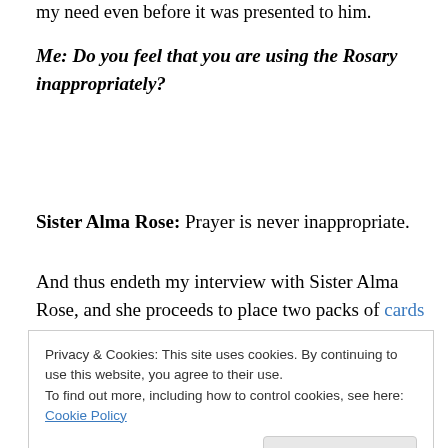my need even before it was presented to him.
Me: Do you feel that you are using the Rosary inappropriately?
Sister Alma Rose: Prayer is never inappropriate.
And thus endeth my interview with Sister Alma Rose, and she proceeds to place two packs of cards on the table
Privacy & Cookies: This site uses cookies. By continuing to use this website, you agree to their use.
To find out more, including how to control cookies, see here: Cookie Policy
Close and accept